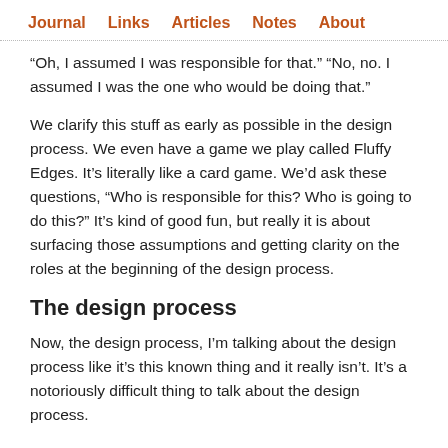Journal   Links   Articles   Notes   About
“Oh, I assumed I was responsible for that.” “No, no. I assumed I was the one who would be doing that.”
We clarify this stuff as early as possible in the design process. We even have a game we play called Fluffy Edges. It’s literally like a card game. We’d ask these questions, “Who is responsible for this? Who is going to do this?” It’s kind of good fun, but really it is about surfacing those assumptions and getting clarity on the roles at the beginning of the design process.
The design process
Now, the design process, I’m talking about the design process like it’s this known thing and it really isn’t. It’s a notoriously difficult thing to talk about the design process.